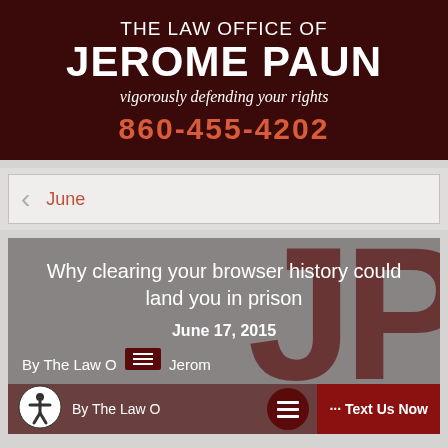THE LAW OFFICE OF JEROME PAUN — vigorously defending your rights — 860-455-4202
June
Why clearing your browser history could land you in prison
June 17, 2015
By The Law Office of Jerome Paun
[Figure (screenshot): Bottom bar with accessibility icon, hamburger menu, and Text Us Now button]